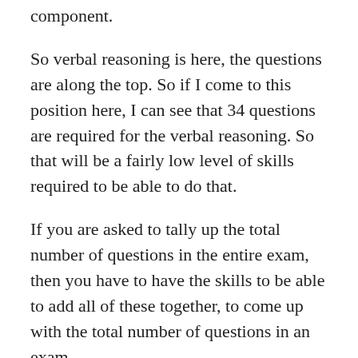component.
So verbal reasoning is here, the questions are along the top. So if I come to this position here, I can see that 34 questions are required for the verbal reasoning. So that will be a fairly low level of skills required to be able to do that.
If you are asked to tally up the total number of questions in the entire exam, then you have to have the skills to be able to add all of these together, to come up with the total number of questions in an exam.
A higher level, again, might be where you would need to determine what the average time limit is for a component of the entrance exam. What's the average time limit? So you would have to